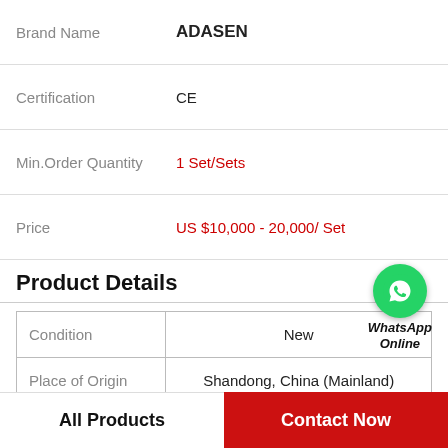| Field | Value |
| --- | --- |
| Brand Name | ADASEN |
| Certification | CE |
| Min.Order Quantity | 1 Set/Sets |
| Price | US $10,000 - 20,000/ Set |
Product Details
[Figure (logo): WhatsApp Online green phone icon with bold italic text 'WhatsApp Online']
| Field | Value |
| --- | --- |
| Condition | New |
| Place of Origin | Shandong, China (Mainland) |
| Brand Name | ADASEN |
| Model Number | JN-35 |
All Products   Contact Now